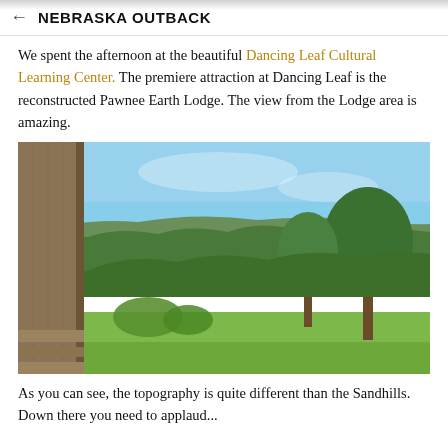← NEBRASKA OUTBACK
We spent the afternoon at the beautiful Dancing Leaf Cultural Learning Center. The premiere attraction at Dancing Leaf is the reconstructed Pawnee Earth Lodge. The view from the Lodge area is amazing.
[Figure (photo): Outdoor landscape view from a wooden lodge porch showing green rolling hills, trees, and blue sky in Nebraska]
As you can see, the topography is quite different than the Sandhills. Down there you need to applaud...